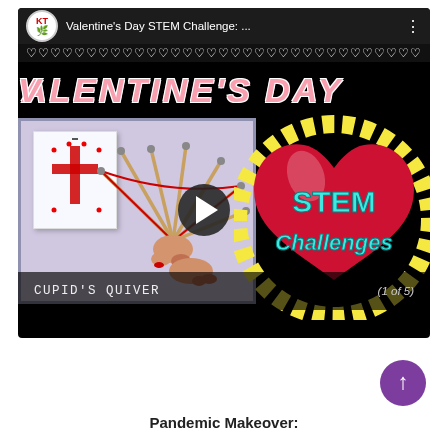[Figure (screenshot): YouTube video thumbnail for 'Valentine's Day STEM Challenge' showing a bow-and-arrow craft (Cupid's Quiver) being constructed, with a large decorative heart graphic saying 'STEM Challenges', a KT channel logo, hearts border strip, pink block letter title 'VALENTINE'S DAY', and captions 'CUPID'S QUIVER' and '(1 of 5)']
Pandemic Makeover: